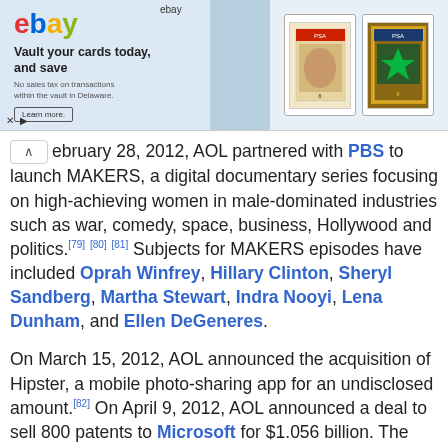[Figure (other): eBay advertisement banner showing eBay logo, 'Vault your cards today and save' slogan, and images of two graded trading cards (baseball card and Yu-Gi-Oh card)]
February 28, 2012, AOL partnered with PBS to launch MAKERS, a digital documentary series focusing on high-achieving women in male-dominated industries such as war, comedy, space, business, Hollywood and politics.[79][80][81] Subjects for MAKERS episodes have included Oprah Winfrey, Hillary Clinton, Sheryl Sandberg, Martha Stewart, Indra Nooyi, Lena Dunham, and Ellen DeGeneres.
On March 15, 2012, AOL announced the acquisition of Hipster, a mobile photo-sharing app for an undisclosed amount.[82] On April 9, 2012, AOL announced a deal to sell 800 patents to Microsoft for $1.056 billion. The deal includes a "perpetual" license for AOL to use these